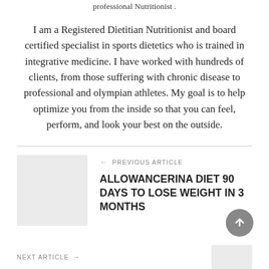professional Nutritionist .
I am a Registered Dietitian Nutritionist and board certified specialist in sports dietetics who is trained in integrative medicine. I have worked with hundreds of clients, from those suffering with chronic disease to professional and olympian athletes. My goal is to help optimize you from the inside so that you can feel, perform, and look your best on the outside.
← PREVIOUS ARTICLE
ALLOWANCERINA DIET 90 DAYS TO LOSE WEIGHT IN 3 MONTHS
NEXT ARTICLE →